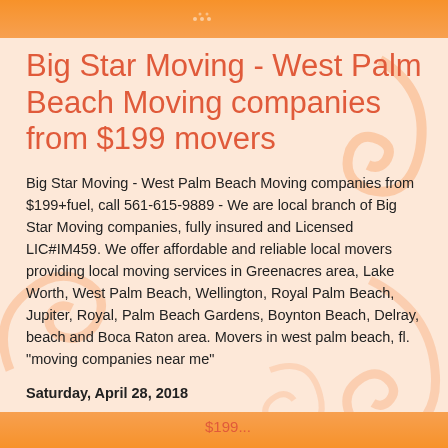Big Star Moving - West Palm Beach Moving companies from $199 movers
Big Star Moving - West Palm Beach Moving companies from $199+fuel, call 561-615-9889 - We are local branch of Big Star Moving companies, fully insured and Licensed LIC#IM459. We offer affordable and reliable local movers providing local moving services in Greenacres area, Lake Worth, West Palm Beach, Wellington, Royal Palm Beach, Jupiter, Royal, Palm Beach Gardens, Boynton Beach, Delray, beach and Boca Raton area. Movers in west palm beach, fl. "moving companies near me"
Saturday, April 28, 2018